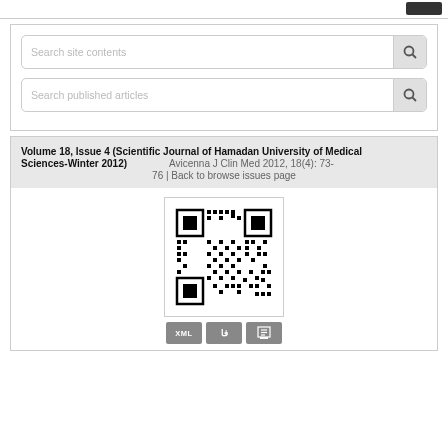[Figure (screenshot): Top navigation bar with a dark button on the right]
Search site contents
Search published articles
Volume 18, Issue 4 (Scientific Journal of Hamadan University of Medical Sciences-Winter 2012)   Avicenna J Clin Med 2012, 18(4): 73-76 | Back to browse issues page
[Figure (other): QR code linking to the article page]
[Figure (other): Download buttons: XML, Fa (full text), print]